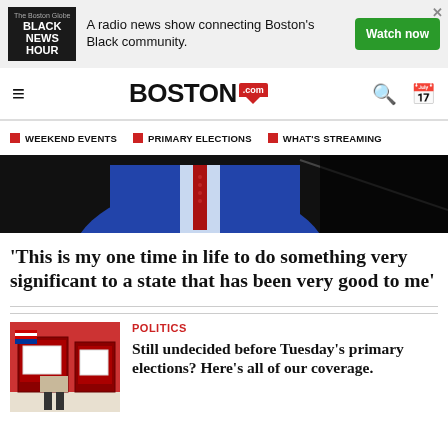[Figure (photo): Advertisement banner for Black News Hour radio show with green Watch now button]
BOSTON.com — navigation bar with hamburger menu, search, and calendar icons
WEEKEND EVENTS
PRIMARY ELECTIONS
WHAT'S STREAMING
[Figure (photo): Man in blue suit with red tie, partial view of upper body against dark background]
'This is my one time in life to do something very significant to a state that has been very good to me'
POLITICS
[Figure (photo): Voting booth with American flag, red background, person standing at booth]
Still undecided before Tuesday's primary elections? Here's all of our coverage.